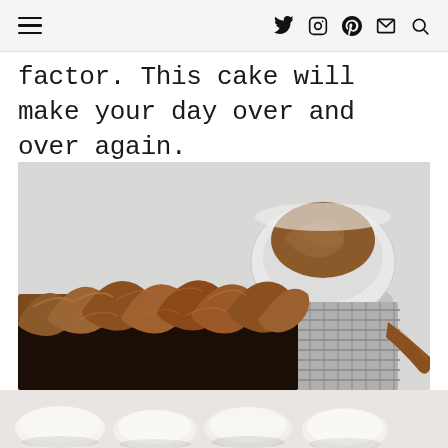navigation header with hamburger menu and social icons: twitter, instagram, pinterest, mail, search
factor. This cake will make your day over and over again.
[Figure (photo): Overhead close-up photo of a dark chocolate sheet cake frosted with swirled chocolate buttercream frosting on a wire cooling rack, with a white bowl of extra frosting in the background, on a light grey surface. Bottom portion shows another image beginning.]